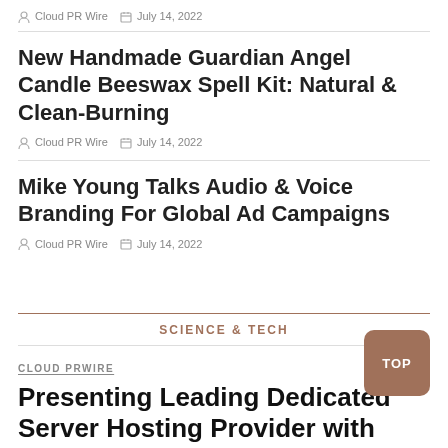Cloud PR Wire   July 14, 2022
New Handmade Guardian Angel Candle Beeswax Spell Kit: Natural & Clean-Burning
Cloud PR Wire   July 14, 2022
Mike Young Talks Audio & Voice Branding For Global Ad Campaigns
Cloud PR Wire   July 14, 2022
SCIENCE & TECH
CLOUD PRWIRE
Presenting Leading Dedicated Server Hosting Provider with Germany, Berlin